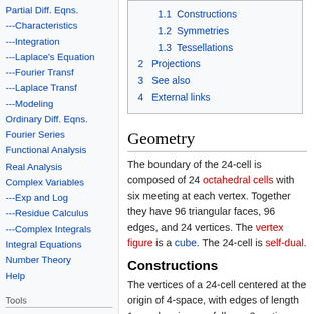Partial Diff. Eqns.
---Characteristics
---Integration
---Laplace's Equation
---Fourier Transf
---Laplace Transf
---Modeling
Ordinary Diff. Eqns.
Fourier Series
Functional Analysis
Real Analysis
Complex Variables
---Exp and Log
---Residue Calculus
---Complex Integrals
Integral Equations
Number Theory
Help
Tools
What links here
Related changes
Special pages
| 1.1 Constructions |
| 1.2 Symmetries |
| 1.3 Tessellations |
| 2 Projections |
| 3 See also |
| 4 External links |
Geometry
The boundary of the 24-cell is composed of 24 octahedral cells with six meeting at each vertex. Together they have 96 triangular faces, 96 edges, and 24 vertices. The vertex figure is a cube. The 24-cell is self-dual.
Constructions
The vertices of a 24-cell centered at the origin of 4-space, with edges of length 1, can be given as follows: 8 vertices